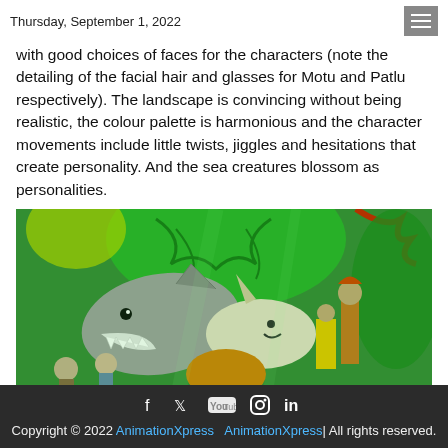Thursday, September 1, 2022
with good choices of faces for the characters (note the detailing of the facial hair and glasses for Motu and Patlu respectively). The landscape is convincing without being realistic, the colour palette is harmonious and the character movements include little twists, jiggles and hesitations that create personality. And the sea creatures blossom as personalities.
[Figure (photo): Animated scene featuring sea creatures including a shark, a beluga/narwhal, and various animated human characters standing together in a lush green underwater/fantasy environment with large green plants in the background.]
Copyright © 2022 AnimationXpress  AnimationXpress| All rights reserved.